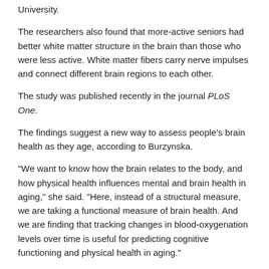University.
The researchers also found that more-active seniors had better white matter structure in the brain than those who were less active. White matter fibers carry nerve impulses and connect different brain regions to each other.
The study was published recently in the journal PLoS One.
The findings suggest a new way to assess people's brain health as they age, according to Burzynska.
"We want to know how the brain relates to the body, and how physical health influences mental and brain health in aging," she said. "Here, instead of a structural measure, we are taking a functional measure of brain health. And we are finding that tracking changes in blood-oxygenation levels over time is useful for predicting cognitive functioning and physical health in aging."
More information
The U.S. National Institute on Aging has more about exercise and physical activity.